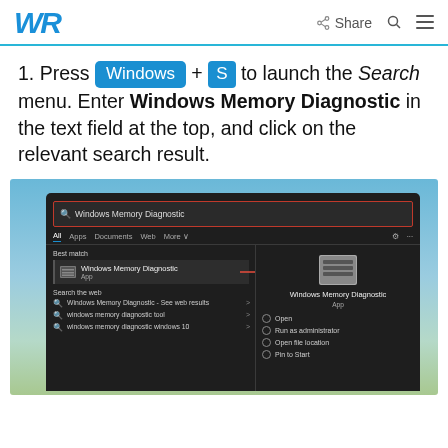WR | Share
1. Press Windows + S to launch the Search menu. Enter Windows Memory Diagnostic in the text field at the top, and click on the relevant search result.
[Figure (screenshot): Windows 11 Search panel showing 'Windows Memory Diagnostic' typed in the search bar. Results show Windows Memory Diagnostic App as best match with a red arrow pointing to it. Right panel shows the app icon with Open, Run as administrator, Open file location, Pin to Start options.]